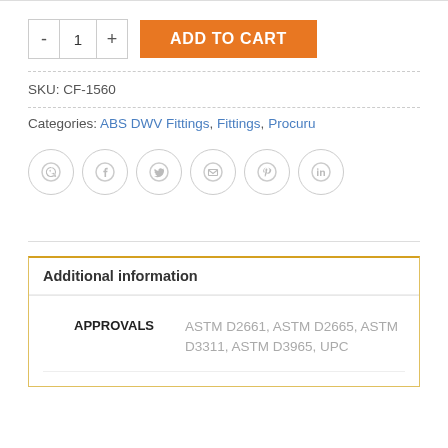- 1 + ADD TO CART
SKU: CF-1560
Categories: ABS DWV Fittings, Fittings, Procuru
[Figure (infographic): Row of 6 social sharing icons: WhatsApp, Facebook, Twitter, Email, Pinterest, LinkedIn — each in a gray circle outline]
Additional information
|  |  |
| --- | --- |
| APPROVALS | ASTM D2661, ASTM D2665, ASTM D3311, ASTM D3965, UPC |